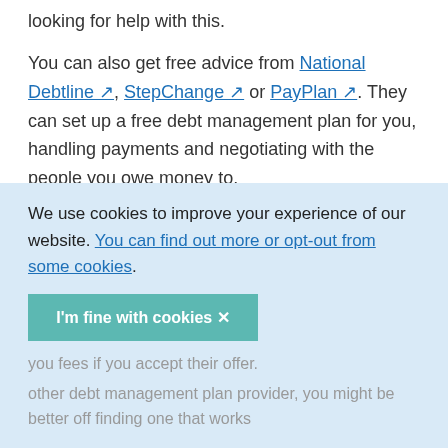looking for help with this.
You can also get free advice from National Debtline, StepChange or PayPlan. They can set up a free debt management plan for you, handling payments and negotiating with the people you owe money to.
Don’t accept straight away if a provider contacts you directly
Your old provider might have given your details to
We use cookies to improve your experience of our website. You can find out more or opt-out from some cookies.
I'm fine with cookies ×
you fees if you accept their offer.
other debt management plan provider, you might be better off finding one that works